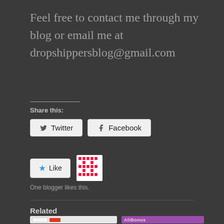Feel free to contact me through my blog or email me at dropshippersblog@gmail.com
Share this:
[Figure (screenshot): Twitter and Facebook share buttons rendered as rounded rectangle buttons with icons]
[Figure (screenshot): Like button with blue star icon and a small pixel-pattern avatar thumbnail next to it]
One blogger likes this.
Related
[Figure (screenshot): Two related post thumbnail images side by side — left shows a flowchart on light background, right shows purple background with AliBonus text]